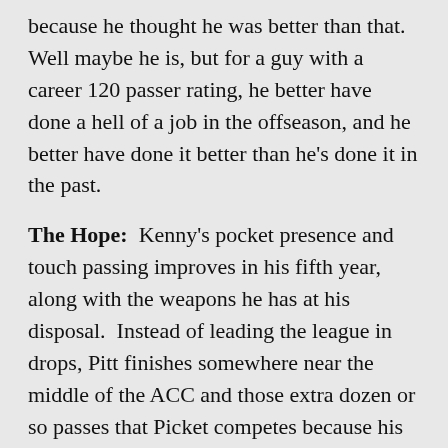because he thought he was better than that.  Well maybe he is, but for a guy with a career 120 passer rating, he better have done a hell of a job in the offseason, and he better have done it better than he's done it in the past.
The Hope:  Kenny's pocket presence and touch passing improves in his fifth year, along with the weapons he has at his disposal.  Instead of leading the league in drops, Pitt finishes somewhere near the middle of the ACC and those extra dozen or so passes that Picket competes because his guys can catch lead to a half-dozen or so touchdowns.
Also we'd hope Picket has put in some extra conditioning work this summer so that he's not totally gassed by running to the sideline each and every play.  The windup is that instead of throwing